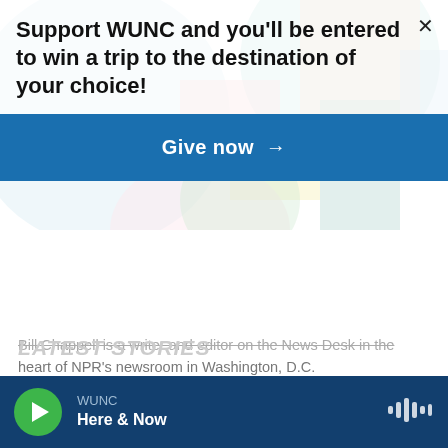[Figure (illustration): Colorful geometric shapes/circles background behind the WUNC promotional banner]
Support WUNC and you'll be entered to win a trip to the destination of your choice!
Give now →
Bill Chappell is a writer and editor on the News Desk in the heart of NPR's newsroom in Washington, D.C.
See stories by Bill Chappell
LATEST STORIES
WUNC
Here & Now